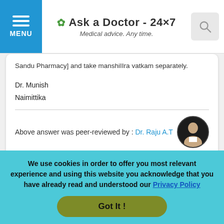Ask a Doctor - 24x7 | Medical advice. Any time.
Sandu Pharmacy] and take manshiIIra vatkam separately.
Dr. Munish
Naimittika
Above answer was peer-reviewed by : Dr. Raju A.T
Follow up: Dr. Dr. Munish Sood (2 days later)
Hi Doctor
We use cookies in order to offer you most relevant experience and using this website you acknowledge that you have already read and understood our Privacy Policy
Got It !